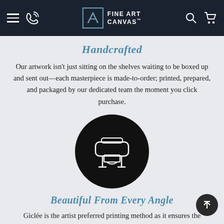Fine Art Canvas — navigation bar with menu, phone, logo, search, and cart icons
Handcrafted
Our artwork isn't just sitting on the shelves waiting to be boxed up and sent out—each masterpiece is made-to-order; printed, prepared, and packaged by our dedicated team the moment you click purchase.
[Figure (illustration): Black circle icon containing a white outline illustration of a large-format printer/plotter with a roll of paper]
Beautiful From Every Angle
Giclée is the artist preferred printing method as it ensures the highest quality and most true-to-life